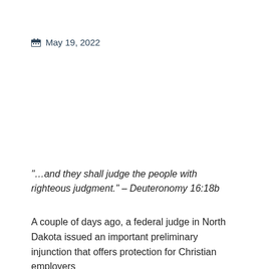May 19, 2022
“…and they shall judge the people with righteous judgment.” – Deuteronomy 16:18b
A couple of days ago, a federal judge in North Dakota issued an important preliminary injunction that offers protection for Christian employers